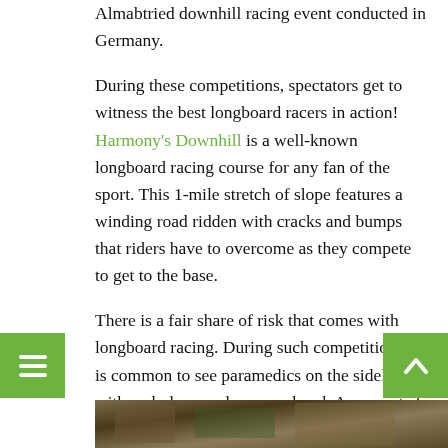Almabtried downhill racing event conducted in Germany.
During these competitions, spectators get to witness the best longboard racers in action! Harmony's Downhill is a well-known longboard racing course for any fan of the sport. This 1-mile stretch of slope features a winding road ridden with cracks and bumps that riders have to overcome as they compete to get to the base.
There is a fair share of risk that comes with longboard racing. During such competitions, it is common to see paramedics on the sidelines with ambulances always on hand. As expected, injuries are a common occurrence at such neck-break speeds but that does not in any way downplay the fun in this amazing sport!
[Figure (photo): Partial photo strip at bottom of page showing outdoor scene]